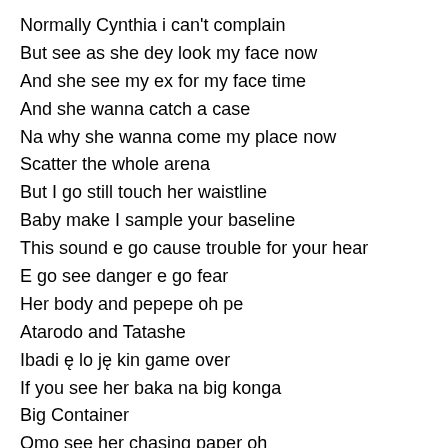Normally Cynthia i can't complain
But see as she dey look my face now
And she see my ex for my face time
And she wanna catch a case
Na why she wanna come my place now
Scatter the whole arena
But I go still touch her waistline
Baby make I sample your baseline
This sound e go cause trouble for your hear
E go see danger e go fear
Her body and pepepe oh pe
Atarodo and Tatashe
Ibadi ę lo ję kin game over
If you see her baka na big konga
Big Container
Omo see her chasing paper oh
Chorus
Ahhh
Skelele skelele